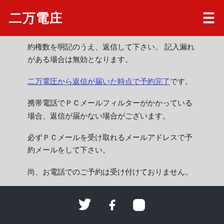二万電庄
約権数を明記のうえ、返信して下さい。 記入漏れがある場合は無効となります。
二万電圧から返信が届いた時点で予約完了です。
携帯電話でPCメールフィルターがかかっている場合、返信が届かない場合がございます。
必ずPCメールを受け取れるメールアドレスで予約メールをして下さい。
尚、お電話でのご予約は受け付けておりません。
Social media icons (Twitter, Facebook, Instagram)